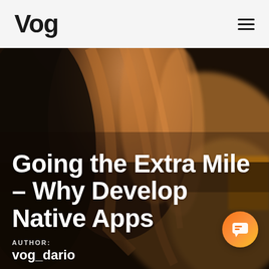Vog
[Figure (photo): Back view of a person with long wavy brown hair, blurred background with warm tones, serving as a hero/banner image for a blog article about native app development]
Going the Extra Mile – Why Develop Native Apps
AUTHOR:
vog_dario